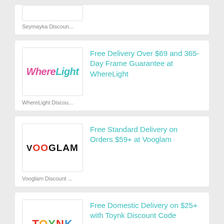[Figure (logo): Partial Seymayka logo box at top]
Seymayka Discoun...
[Figure (logo): WhereLight logo - pink and teal italic text]
Free Delivery Over $69 and 365-Day Frame Guarantee at WhereLight
WhereLight Discou...
[Figure (logo): VOOGLAM logo - bold uppercase black text with red OO]
Free Standard Delivery on Orders $59+ at Vooglam
Vooglam Discount ...
[Figure (logo): Toynk logo - colorful cartoon-style lettering]
Free Domestic Delivery on $25+ with Toynk Discount Code
Toynk Discount Co...